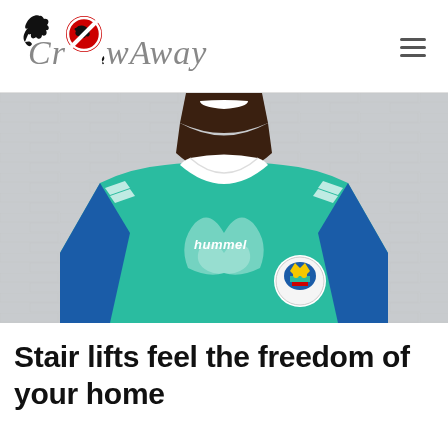CrowAway
[Figure (photo): A smiling man wearing a teal/green hummel branded soccer jersey with a Sierra Leone football crest badge, photographed from the chest up against a light grey brick wall background.]
Stair lifts feel the freedom of your home